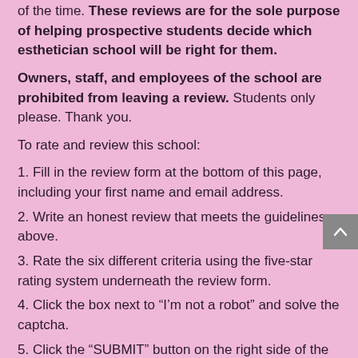of the time. These reviews are for the sole purpose of helping prospective students decide which esthetician school will be right for them.
Owners, staff, and employees of the school are prohibited from leaving a review. Students only please. Thank you.
To rate and review this school:
1. Fill in the review form at the bottom of this page, including your first name and email address.
2. Write an honest review that meets the guidelines above.
3. Rate the six different criteria using the five-star rating system underneath the review form.
4. Click the box next to “I’m not a robot” and solve the captcha.
5. Click the “SUBMIT” button on the right side of the form.